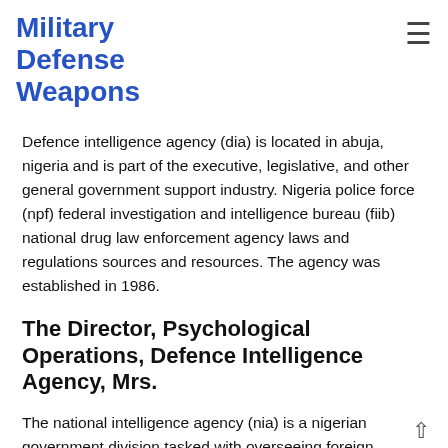Military Defense Weapons
Defence intelligence agency (dia) is located in abuja, nigeria and is part of the executive, legislative, and other general government support industry. Nigeria police force (npf) federal investigation and intelligence bureau (fiib) national drug law enforcement agency laws and regulations sources and resources. The agency was established in 1986.
The Director, Psychological Operations, Defence Intelligence Agency, Mrs.
The national intelligence agency (nia) is a nigerian government division tasked with overseeing foreign intelligence and counterintelligence operations. *nigerian armed forces resettleme centre, oshodi lagos *defence industry corporation, kaduna. Visit